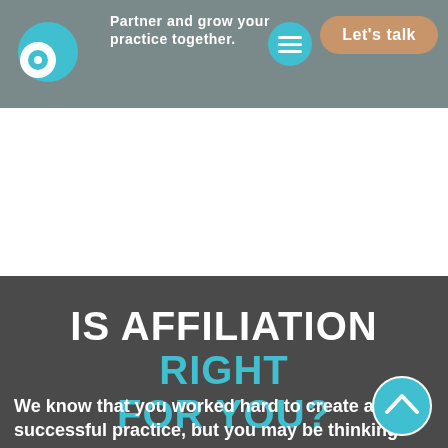[Figure (logo): CO logo with teal circles on gray navigation bar]
Partner and grow your practice together.
[Figure (other): Hamburger menu icon - three horizontal lines in teal circle]
[Figure (other): Let's talk button in tan/brown rounded rectangle]
IS AFFILIATION RIGHT FOR YOU?
We know that you worked hard to create a successful practice, but you may be thinking about...